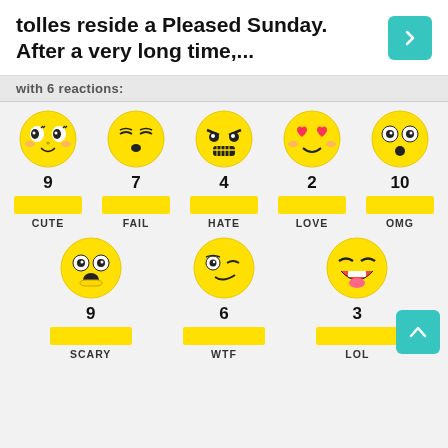tolles reside a Pleased Sunday. After a very long time,...
with 6 reactions:
[Figure (infographic): Emoji reaction panel with 8 emotion categories: CUTE(9), FAIL(7), HATE(4), LOVE(2), OMG(10), SCARY(9), WTF(6), LOL(3). Each has a yellow emoji face, a count number, a yellow progress bar, and a label.]